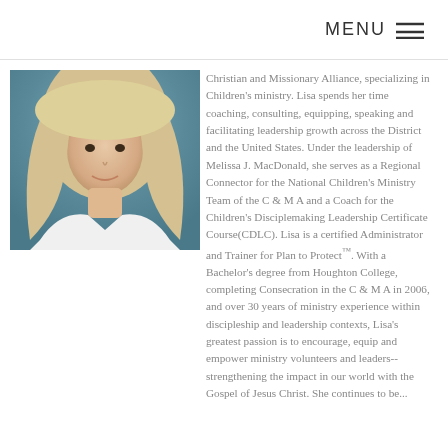MENU ≡
[Figure (photo): Portrait photo of a woman with long blonde hair wearing a white knit sweater, outdoors with blue-green background]
Christian and Missionary Alliance, specializing in Children's ministry. Lisa spends her time coaching, consulting, equipping, speaking and facilitating leadership growth across the District and the United States. Under the leadership of Melissa J. MacDonald, she serves as a Regional Connector for the National Children's Ministry Team of the C & M A and a Coach for the Children's Disciplemaking Leadership Certificate Course(CDLC). Lisa is a certified Administrator and Trainer for Plan to Protect™. With a Bachelor's degree from Houghton College, completing Consecration in the C & M A in 2006, and over 30 years of ministry experience within discipleship and leadership contexts, Lisa's greatest passion is to encourage, equip and empower ministry volunteers and leaders--strengthening the impact in our world with the Gospel of Jesus Christ. She continues to be...